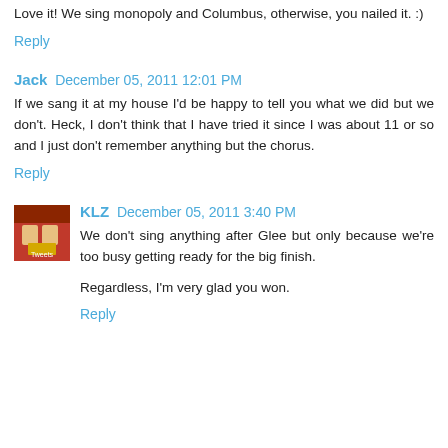Love it! We sing monopoly and Columbus, otherwise, you nailed it. :)
Reply
Jack  December 05, 2011 12:01 PM
If we sang it at my house I'd be happy to tell you what we did but we don't. Heck, I don't think that I have tried it since I was about 11 or so and I just don't remember anything but the chorus.
Reply
KLZ  December 05, 2011 3:40 PM
We don't sing anything after Glee but only because we're too busy getting ready for the big finish.
Regardless, I'm very glad you won.
Reply